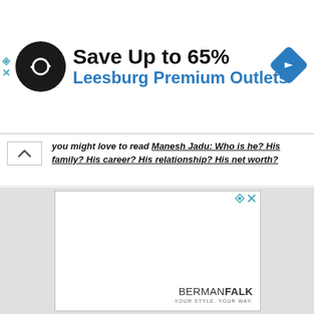[Figure (screenshot): Advertisement banner for Leesburg Premium Outlets: circular black logo with arrows icon, text 'Save Up to 65% Leesburg Premium Outlets', blue diamond navigation icon top right, small ad control icons top left]
you might love to read Manesh Jadu: Who is he? His family? His career? His relationship? His net worth?
[Figure (screenshot): Advertisement placeholder box with BermanFalk 'YOUR STYLE. YOUR WAY.' branding in the bottom right corner, ad control icons top right]